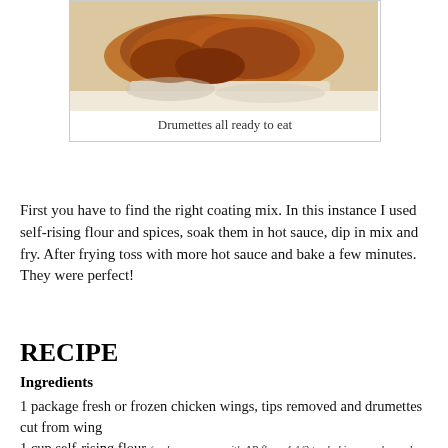[Figure (photo): Fried chicken drumettes on a white plate, ready to eat]
Drumettes all ready to eat
First you have to find the right coating mix. In this instance I used self-rising flour and spices, soak them in hot sauce, dip in mix and fry. After frying toss with more hot sauce and bake a few minutes. They were perfect!
RECIPE
Ingredients
1 package fresh or frozen chicken wings, tips removed and drumettes cut from wing
1 cup self-rising flour (make your own with AP flour, 1 1/2 tsp baking powder and 1/4 tsp salt)
1-2 tsp garlic powder
1-2 tsp course-ground black pepper
Texas Pete Buffalo Wing Sauce